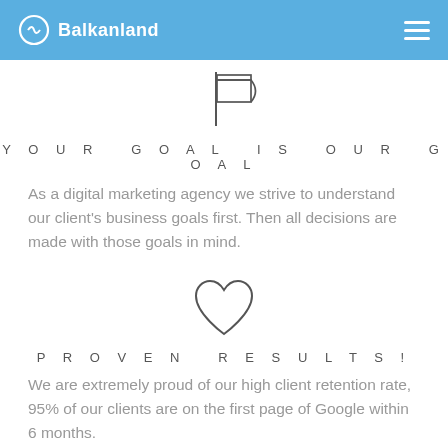Balkanland
[Figure (illustration): Line-art flag icon]
YOUR GOAL IS OUR GOAL
As a digital marketing agency we strive to understand our client's business goals first. Then all decisions are made with those goals in mind.
[Figure (illustration): Line-art heart icon]
PROVEN RESULTS!
We are extremely proud of our high client retention rate, 95% of our clients are on the first page of Google within 6 months.